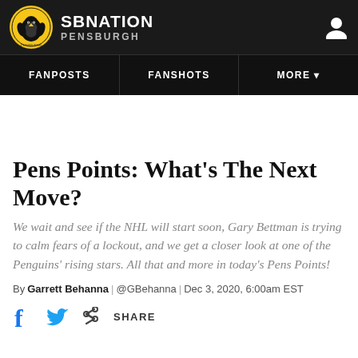SB NATION PENSBURGH
Pens Points: What’s The Next Move?
We wait and see if the NHL will start soon, Gary Bettman is trying to calm fears of a lockout, and we get a closer look at one of the Penguins’ rising stars. All that and more in today’s Pens Points!
By Garrett Behanna | @GBehanna | Dec 3, 2020, 6:00am EST